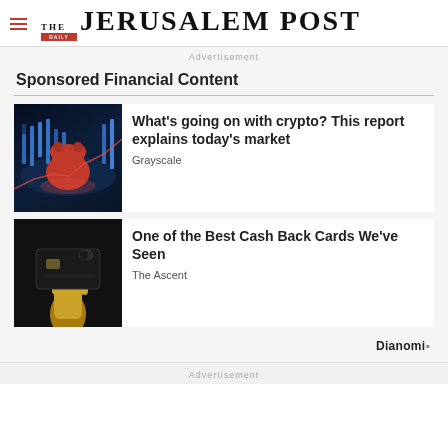THE JERUSALEM POST
Advertisement
Sponsored Financial Content
[Figure (photo): Red bear figure on dark background with candlestick chart pattern in blue lights]
What's going on with crypto? This report explains today's market
Grayscale
[Figure (photo): Golden hand holding a black credit card on dark background]
One of the Best Cash Back Cards We've Seen
The Ascent
Dianomi
Advertisement